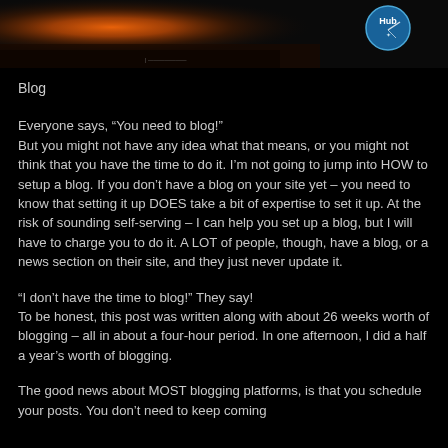[Figure (photo): Dark header banner image with an orange/sunset glow on the left and a circular HubSpot-style logo icon on the right against a dark/black background]
Blog
Everyone says, “You need to blog!” But you might not have any idea what that means, or you might not think that you have the time to do it. I’m not going to jump into HOW to setup a blog. If you don’t have a blog on your site yet – you need to know that setting it up DOES take a bit of expertise to set it up. At the risk of sounding self-serving – I can help you set up a blog, but I will have to charge you to do it. A LOT of people, though, have a blog, or a news section on their site, and they just never update it.
“I don’t have the time to blog!” They say! To be honest, this post was written along with about 26 weeks worth of blogging – all in about a four-hour period. In one afternoon, I did a half a year’s worth of blogging.
The good news about MOST blogging platforms, is that you schedule your posts. You don’t need to keep coming